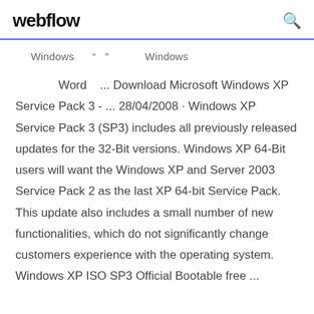webflow
Windows " " Windows
Word ... Download Microsoft Windows XP Service Pack 3 - ... 28/04/2008 · Windows XP Service Pack 3 (SP3) includes all previously released updates for the 32-Bit versions. Windows XP 64-Bit users will want the Windows XP and Server 2003 Service Pack 2 as the last XP 64-bit Service Pack. This update also includes a small number of new functionalities, which do not significantly change customers experience with the operating system. Windows XP ISO SP3 Official Bootable free ...